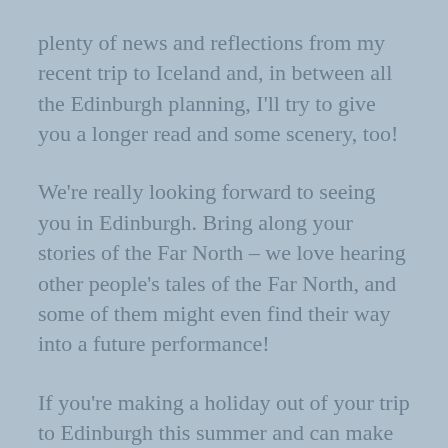plenty of news and reflections from my recent trip to Iceland and, in between all the Edinburgh planning, I'll try to give you a longer read and some scenery, too!
We're really looking forward to seeing you in Edinburgh. Bring along your stories of the Far North – we love hearing other people's tales of the Far North, and some of them might even find their way into a future performance!
If you're making a holiday out of your trip to Edinburgh this summer and can make it over to Stirling, or indeed you live in our area, then Orla Stevens also has a solo exhibition of her Orkney-inspired work at the MacRobert Arts Centre at Stirling University. It runs from 20th August for around a month